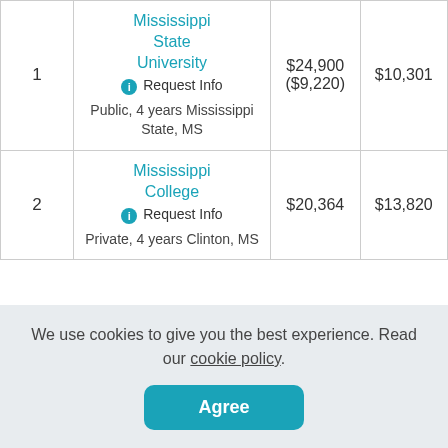| # | School | Tuition | Net Price |
| --- | --- | --- | --- |
| 1 | Mississippi State University
Public, 4 years
Mississippi State, MS | $24,900 ($9,220) | $10,301 |
| 2 | Mississippi College
Private, 4 years
Clinton, MS | $20,364 | $13,820 |
We use cookies to give you the best experience. Read our cookie policy.